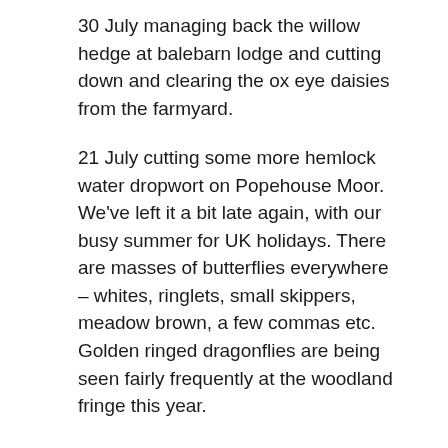30 July managing back the willow hedge at balebarn lodge and cutting down and clearing the ox eye daisies from the farmyard.
21 July cutting some more hemlock water dropwort on Popehouse Moor. We've left it a bit late again, with our busy summer for UK holidays. There are masses of butterflies everywhere – whites, ringlets, small skippers, meadow brown, a few commas etc. Golden ringed dragonflies are being seen fairly frequently at the woodland fringe this year.
20 July Patch mowing in the field below Balebarn Eco Lodge – cutting strips into the long grass that is now going brown, so we don't end up with a whole field of dead grass in September. It is notable that the patches we kept mown last year, but let grow this year, are now full of birdsfoot trefoil.